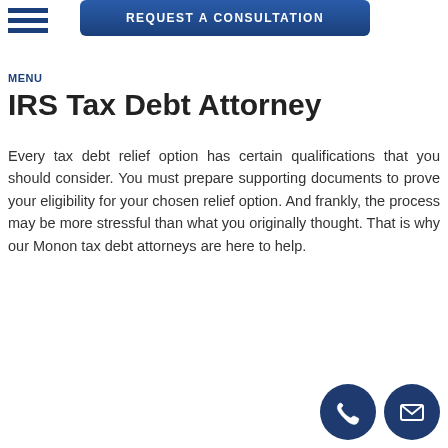[Figure (other): Blue 'REQUEST A CONSULTATION' button at the top of the page]
[Figure (other): Hamburger menu icon with three horizontal blue bars and 'MENU' label below]
IRS Tax Debt Attorney
Every tax debt relief option has certain qualifications that you should consider. You must prepare supporting documents to prove your eligibility for your chosen relief option. And frankly, the process may be more stressful than what you originally thought. That is why our Monon tax debt attorneys are here to help.
[Figure (other): Two circular dark blue icon buttons at bottom right: a phone icon and an email/envelope icon]